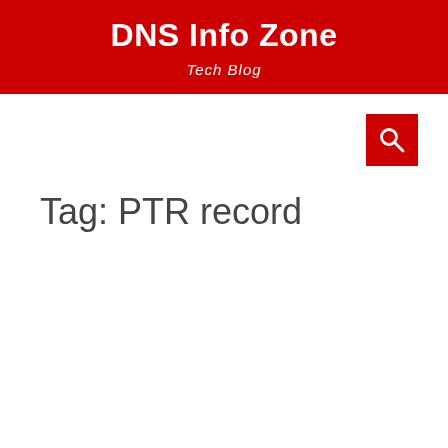DNS Info Zone
Tech Blog
[Figure (other): Search button with magnifying glass icon on red background]
Tag: PTR record